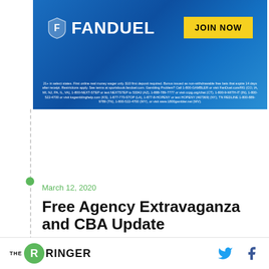[Figure (other): FanDuel advertisement banner with blue gradient background, FanDuel shield logo and wordmark on left, yellow 'JOIN NOW' button on right, fine print gambling disclaimer text at bottom]
March 12, 2020
Free Agency Extravaganza and CBA Update
By Kevin Clark
Kevin Clark is joined by Sheil Kapadia and Andrew Brandt for a big-picture look at the state of the NFL
THE RINGER [social icons: Twitter, Facebook]